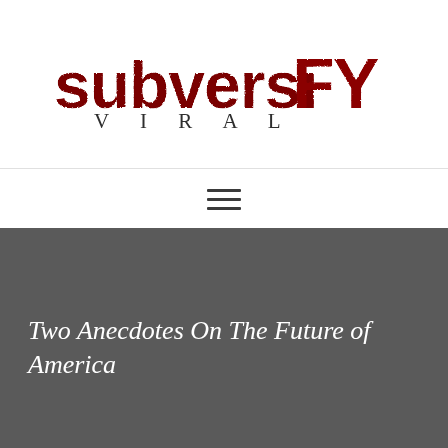[Figure (logo): SubversiFY Viral website logo — distressed grunge-style text 'subversiFY' in dark red, with 'VIRAL' in spaced serif capitals below]
[Figure (other): Hamburger menu icon — three horizontal lines centered in white navigation bar]
Two Anecdotes On The Future of America